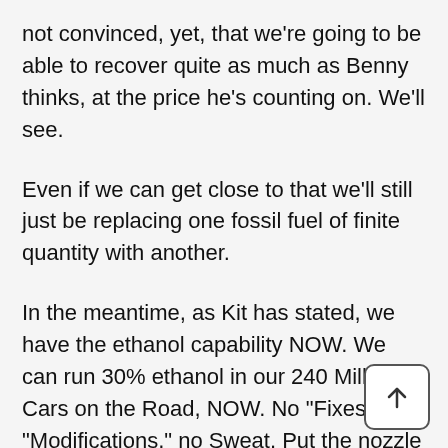not convinced, yet, that we're going to be able to recover quite as much as Benny thinks, at the price he's counting on. We'll see.
Even if we can get close to that we'll still just be replacing one fossil fuel of finite quantity with another.
In the meantime, as Kit has stated, we have the ethanol capability NOW. We can run 30% ethanol in our 240 Million Cars on the Road, NOW. No "Fixes," no "Modifications," no Sweat. Put the nozzle in the filling tube, and let'er rip.